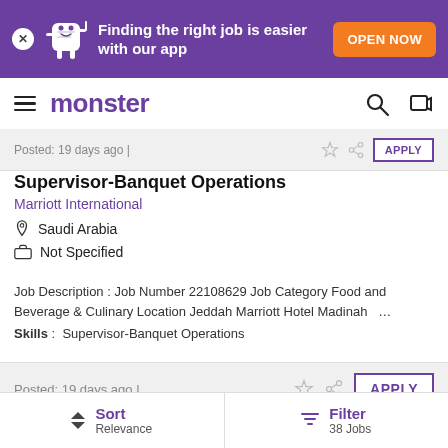[Figure (screenshot): Purple app promotion banner with mascot, text 'Finding the right job is easier with our app', and orange 'OPEN NOW' button]
monster
Posted: 19 days ago |  APPLY
Supervisor-Banquet Operations
Marriott International
Saudi Arabia
Not Specified
Job Description : Job Number 22108629 Job Category Food and Beverage & Culinary Location Jeddah Marriott Hotel Madinah ...
Skills : Supervisor-Banquet Operations
Posted: 19 days ago |  APPLY
Sort Relevance  Filter 38 Jobs